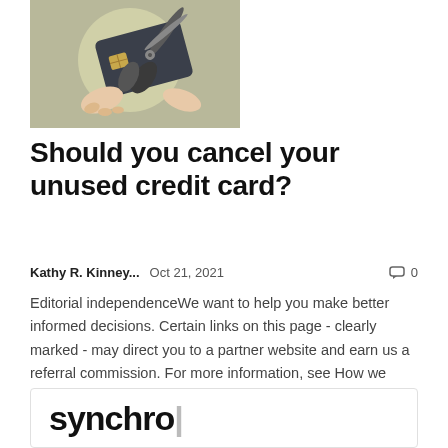[Figure (photo): Hands cutting a dark credit card with scissors against an olive/beige circular background]
Should you cancel your unused credit card?
Kathy R. Kinney...   Oct 21, 2021   🗨 0
Editorial independenceWe want to help you make better informed decisions. Certain links on this page - clearly marked - may direct you to a partner website and earn us a referral commission. For more information, see How we make...
[Figure (logo): Synchro logo text partially visible at bottom of page]